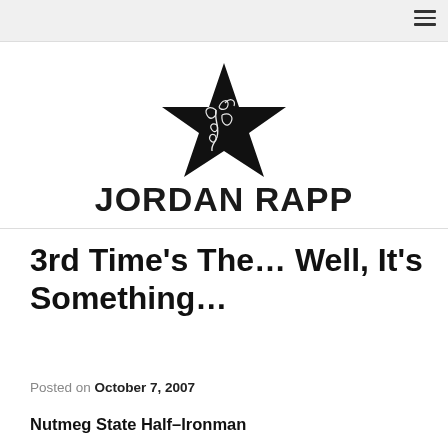[Figure (logo): Black star logo with decorative floral scroll design inside, representing Jordan Rapp blog logo]
JORDAN RAPP
3rd Time’s The… Well, It’s Something…
Posted on October 7, 2007
Nutmeg State Half–Ironman